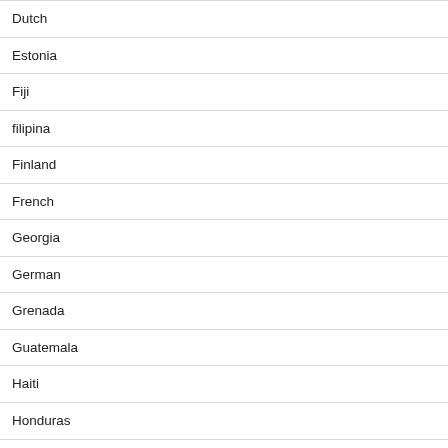Dutch
Estonia
Fiji
filipina
Finland
French
Georgia
German
Grenada
Guatemala
Haiti
Honduras
Hong Kong
indonesia